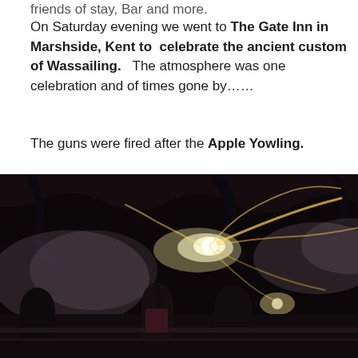friends of stay, Bar and more.
On Saturday evening we went to The Gate Inn in Marshside, Kent to  celebrate the ancient custom of Wassailing.   The atmosphere was one celebration and of times gone by……
The guns were fired after the Apple Yowling.
[Figure (photo): Night-time photograph of people firing guns with bright sparks and smoke trails visible against a dark background with trees.]